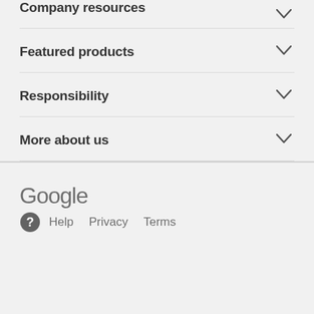Company resources
Featured products
Responsibility
More about us
[Figure (logo): Google logo in grey text]
Help  Privacy  Terms